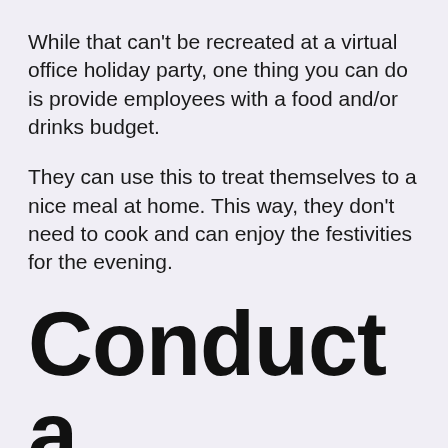While that can't be recreated at a virtual office holiday party, one thing you can do is provide employees with a food and/or drinks budget.
They can use this to treat themselves to a nice meal at home. This way, they don't need to cook and can enjoy the festivities for the evening.
Conduct a yoga or Pil...